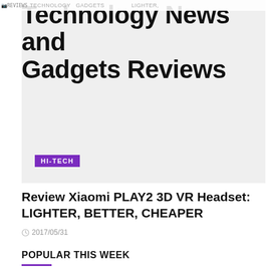REVIEWS TECHNOLOGY GADGETS CHEAPER — Technology News and Gadgets Reviews
[Figure (photo): Large gray placeholder image area with HI-TECH purple badge label overlaid at bottom-left]
Review Xiaomi PLAY2 3D VR Headset: LIGHTER, BETTER, CHEAPER
2017/05/31
POPULAR THIS WEEK